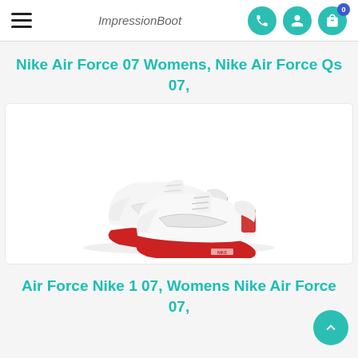ImpressionBoot
Nike Air Force 07 Womens, Nike Air Force Qs 07,
[Figure (photo): Nike Air Force 1 07 sneakers in white with red sole, shown as a pair from a side angle on a white background]
Air Force Nike 1 07, Womens Nike Air Force 07,